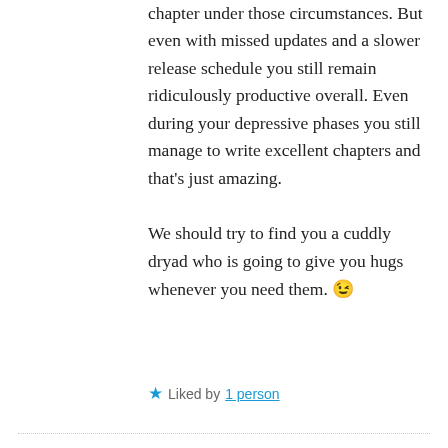chapter under those circumstances. But even with missed updates and a slower release schedule you still remain ridiculously productive overall. Even during your depressive phases you still manage to write excellent chapters and that's just amazing.
We should try to find you a cuddly dryad who is going to give you hugs whenever you need them. 😉
★ Liked by 1 person
March 17, 2017 at 8:59 am
[Figure (illustration): Avatar icon with geometric quilt-like pattern in teal/green and white]
Yeap.
After having read this chapter it is